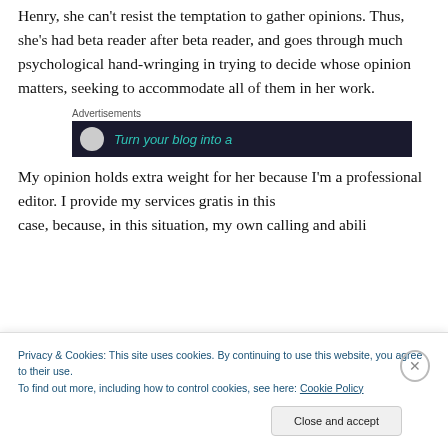Henry, she can't resist the temptation to gather opinions. Thus, she's had beta reader after beta reader, and goes through much psychological hand-wringing in trying to decide whose opinion matters, seeking to accommodate all of them in her work.
[Figure (other): Advertisement banner with dark background showing partial text 'Turn your blog into a' in teal/green italic font with a circular logo element on the left]
My opinion holds extra weight for her because I'm a professional editor. I provide my services gratis in this case, because, in this situation, my own calling and ability...
Privacy & Cookies: This site uses cookies. By continuing to use this website, you agree to their use. To find out more, including how to control cookies, see here: Cookie Policy
Close and accept